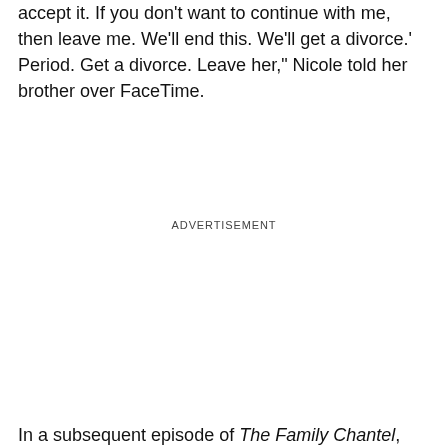accept it. If you don't want to continue with me, then leave me. We'll end this. We'll get a divorce.' Period. Get a divorce. Leave her," Nicole told her brother over FaceTime.
ADVERTISEMENT
In a subsequent episode of The Family Chantel,